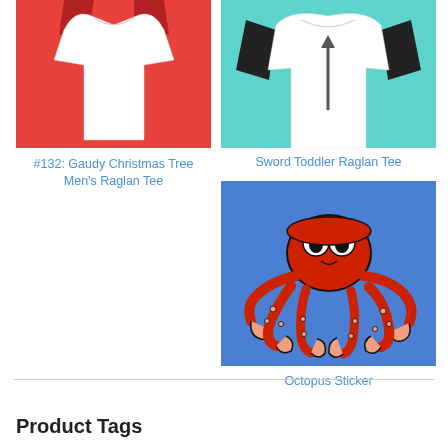[Figure (photo): White raglan t-shirt on red background with dark red/maroon sleeves, Christmas tree design]
#132: Gaudy Christmas Tree Men's Raglan Tee
[Figure (photo): White raglan t-shirt on teal/turquoise background with black sleeves, sword design]
Sword Toddler Raglan Tee
[Figure (illustration): Red cartoon octopus with big white eyes on blue background]
Octopus Sticker
Product Tags